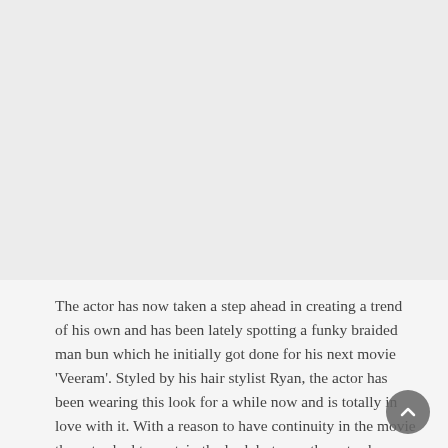[Figure (photo): Large image area at the top of the page, showing a light gray/whitish background, likely a photo placeholder or faded image.]
The actor has now taken a step ahead in creating a trend of his own and has been lately spotting a funky braided man bun which he initially got done for his next movie 'Veeram'. Styled by his hair stylist Ryan, the actor has been wearing this look for a while now and is totally in love with it. With a reason to have continuity in the movie the actor had to sustain the look but now the actor has decided to keep till he starts shooting for his next with Dharma Productions.